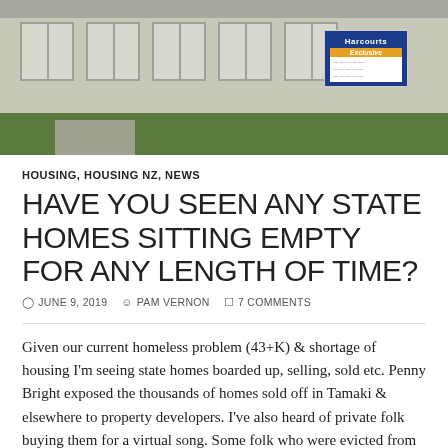[Figure (photo): Exterior photo of a state house (residential building) with white/cream facade, multiple windows, green lawn, and a Harcourts Exclusive real estate sign visible in the upper right corner.]
HOUSING, HOUSING NZ, NEWS
HAVE YOU SEEN ANY STATE HOMES SITTING EMPTY FOR ANY LENGTH OF TIME?
JUNE 9, 2019  PAM VERNON  7 COMMENTS
Given our current homeless problem (43+K) & shortage of housing I'm seeing state homes boarded up, selling, sold etc. Penny Bright exposed the thousands of homes sold off in Tamaki & elsewhere to property developers. I've also heard of private folk buying them for a virtual song. Some folk who were evicted from these who are still homeless. Then there's the P